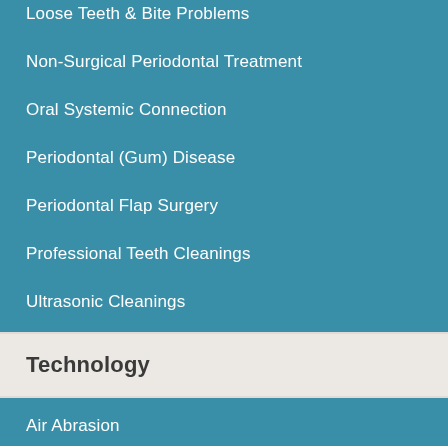Loose Teeth & Bite Problems
Non-Surgical Periodontal Treatment
Oral Systemic Connection
Periodontal (Gum) Disease
Periodontal Flap Surgery
Professional Teeth Cleanings
Ultrasonic Cleanings
Technology
Air Abrasion